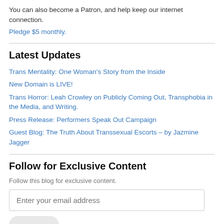You can also become a Patron, and help keep our internet connection.
Pledge $5 monthly.
Latest Updates
Trans Mentality: One Woman's Story from the Inside
New Domain is LIVE!
Trans Horror: Leah Crowley on Publicly Coming Out, Transphobia in the Media, and Writing.
Press Release: Performers Speak Out Campaign
Guest Blog: The Truth About Transsexual Escorts – by Jazmine Jagger
Follow for Exclusive Content
Follow this blog for exclusive content.
Enter your email address